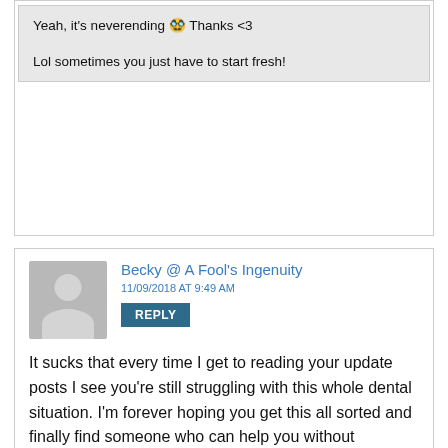Yeah, it's neverending 🙁 Thanks <3
Lol sometimes you just have to start fresh!
Becky @ A Fool's Ingenuity
11/09/2018 AT 9:49 AM
REPLY
It sucks that every time I get to reading your update posts I see you're still struggling with this whole dental situation. I'm forever hoping you get this all sorted and finally find someone who can help you without stressing you out and causing you
Privacy & Cookies: This site uses cookies. By continuing to use this website, you agree to their use.
To find out more, including how to control cookies, see here: Privacy Policy
Close and accept
everyone else (which reminds me, I need to make sure my